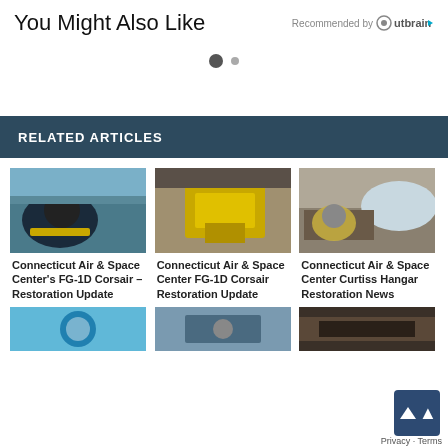You Might Also Like
Recommended by Outbrain
[Figure (other): Pagination dots: one filled dark circle and one smaller grey circle]
RELATED ARTICLES
[Figure (photo): Connecticut Air & Space Center FG-1D Corsair on tarmac, dark blue/black with yellow markings]
Connecticut Air & Space Center's FG-1D Corsair – Restoration Update
[Figure (photo): Connecticut Air & Space Center FG-1D Corsair in hangar, yellow fuselage under restoration]
Connecticut Air & Space Center FG-1D Corsair Restoration Update
[Figure (photo): Connecticut Air & Space Center Curtiss Hangar exterior with yellow plane visible]
Connecticut Air & Space Center Curtiss Hangar Restoration News
[Figure (photo): Three thumbnail images at bottom of page showing additional related articles]